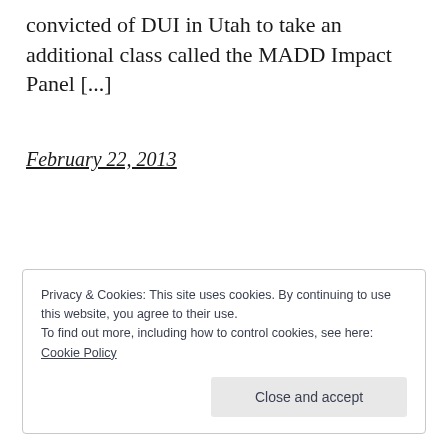convicted of DUI in Utah to take an additional class called the MADD Impact Panel [...]
February 22, 2013
Privacy & Cookies: This site uses cookies. By continuing to use this website, you agree to their use.
To find out more, including how to control cookies, see here: Cookie Policy